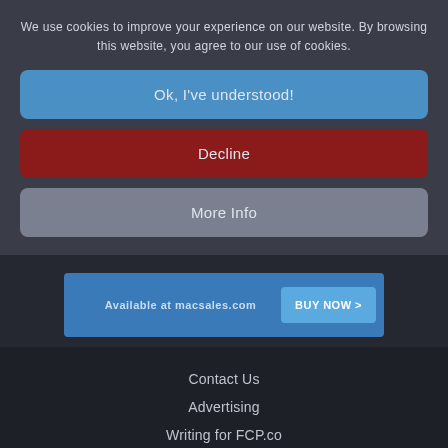We use cookies to improve your experience on our website. By browsing this website, you agree to our use of cookies.
Ok, I've understood!
Decline
More Info
Available at macsales.com
BUY NOW >
Contact Us
Advertising
Writing for FCP.co
Jobs
Terms and Conditions
© fcp.co 2022